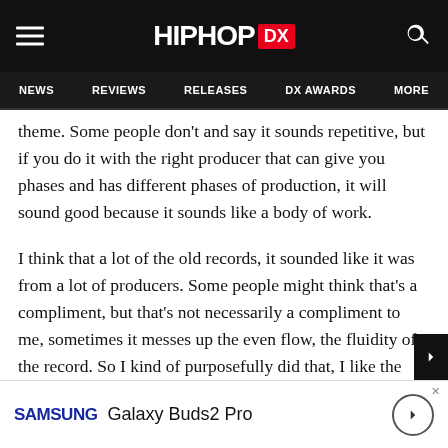HipHopDX — NEWS | REVIEWS | RELEASES | DX AWARDS | MORE
theme. Some people don't and say it sounds repetitive, but if you do it with the right producer that can give you phases and has different phases of production, it will sound good because it sounds like a body of work.
I think that a lot of the old records, it sounded like it was from a lot of producers. Some people might think that's a compliment, but that's not necessarily a compliment to me, sometimes it messes up the even flow, the fluidity of the record. So I kind of purposefully did that, I like the results that I'm getting. I'm also trying to limit the number of newer producers that I work with, but maybe on the mixtape kind of vibe, that's where I'll meet the newer people... at has the de...
[Figure (other): Samsung Galaxy Buds2 Pro advertisement banner at the bottom of the page]